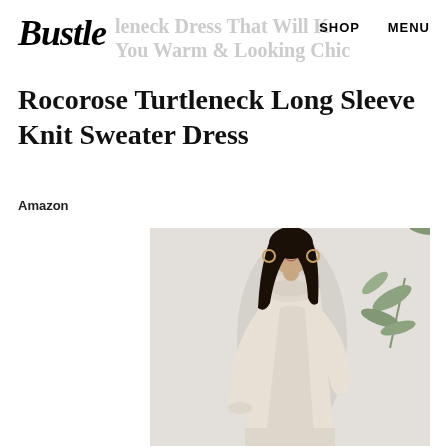Bustle | leneck Dress That Will K… You Warm & Looking Chic | SHOP | MENU
Rocorose Turtleneck Long Sleeve Knit Sweater Dress
Amazon
[Figure (photo): A woman wearing a cream/beige turtleneck long sleeve knit sweater dress, posing against a light textured wall with a plant visible on the right side. She has long dark hair and is wearing hoop earrings.]